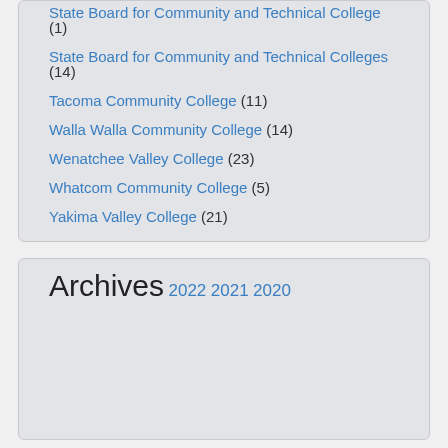State Board for Community and Technical College (1)
State Board for Community and Technical Colleges (14)
Tacoma Community College (11)
Walla Walla Community College (14)
Wenatchee Valley College (23)
Whatcom Community College (5)
Yakima Valley College (21)
Archives
2022
2021
2020